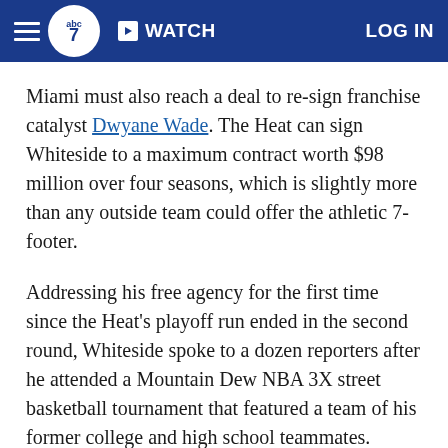ABC7 News — WATCH — LOG IN
Miami must also reach a deal to re-sign franchise catalyst Dwyane Wade. The Heat can sign Whiteside to a maximum contract worth $98 million over four seasons, which is slightly more than any outside team could offer the athletic 7-footer.
Addressing his free agency for the first time since the Heat's playoff run ended in the second round, Whiteside spoke to a dozen reporters after he attended a Mountain Dew NBA 3X street basketball tournament that featured a team of his former college and high school teammates.